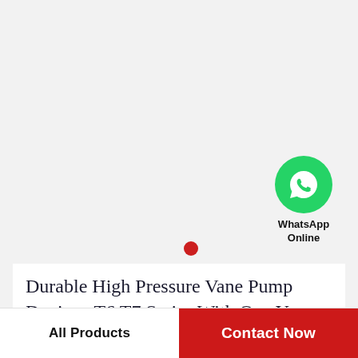[Figure (logo): WhatsApp green circle icon with phone handset symbol in white, with text 'WhatsApp Online' below]
Durable High Pressure Vane Pump Denison T6 T7 Series With One Year Guarantee
All Products
Contact Now